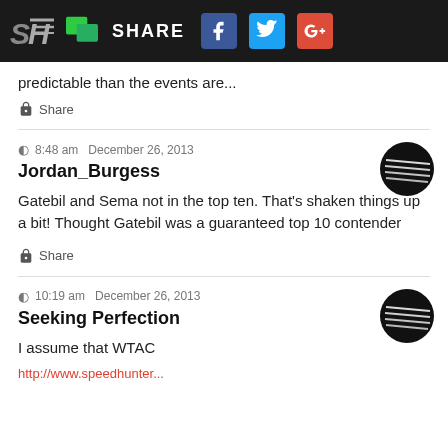SH | SHARE [Facebook] [Twitter] [Google+]
predictable than the events are...
Share
8:48 am  December 26, 2013
Jordan_Burgess
Gatebil and Sema not in the top ten. That's shaken things up a bit! Thought Gatebil was a guaranteed top 10 contender
Share
10:19 am  December 26, 2013
Seeking Perfection
I assume that WTAC